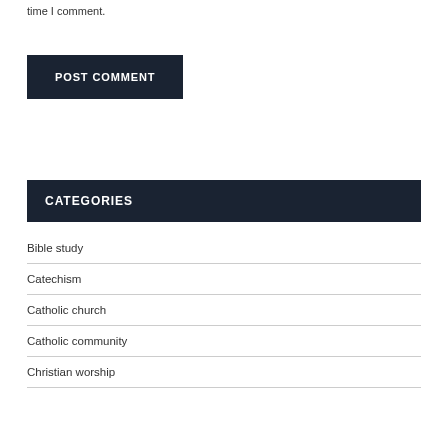time I comment.
POST COMMENT
CATEGORIES
Bible study
Catechism
Catholic church
Catholic community
Christian worship